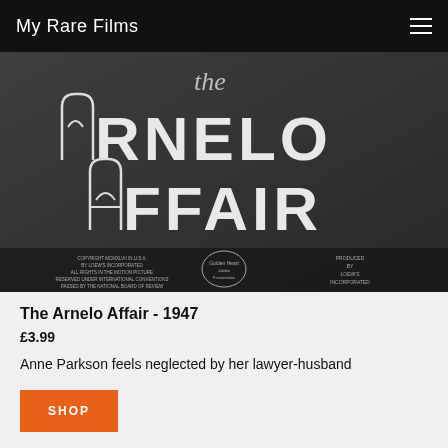My Rare Films
[Figure (photo): Black and white film title card showing 'The Arnelo Affair' in large decorative gothic lettering with small copyright and production credits at the bottom, including 50th anniversary MGM logo and 'Produced by Loew's Incorporated']
The Arnelo Affair - 1947
£3.99
Anne Parkson feels neglected by her lawyer-husband
SHOP